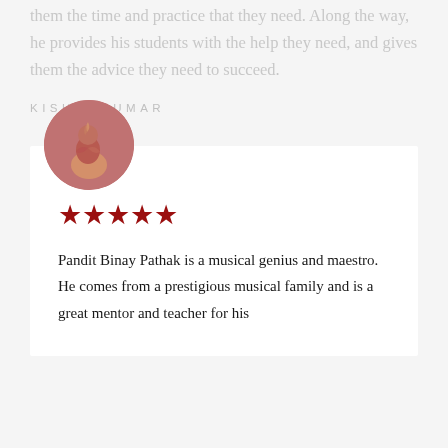them the time and practice that they need. Along the way, he provides his students with the help they need, and gives them the advice they need to succeed.
KISHORKUMAR
[Figure (illustration): Circular avatar with mauve/dusty-rose background featuring a stylized flame or music-related silhouette in golden tones]
★★★★★ (5 stars)
Pandit Binay Pathak is a musical genius and maestro. He comes from a prestigious musical family and is a great mentor and teacher for his